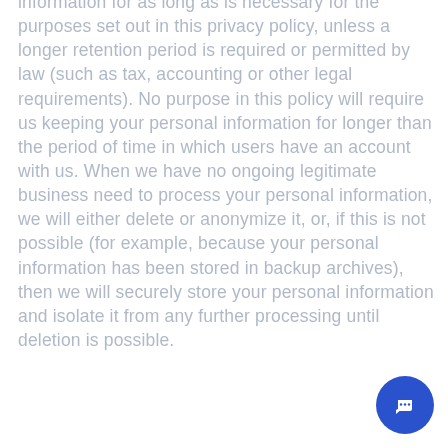information for as long as is necessary for the purposes set out in this privacy policy, unless a longer retention period is required or permitted by law (such as tax, accounting or other legal requirements). No purpose in this policy will require us keeping your personal information for longer than the period of time in which users have an account with us. When we have no ongoing legitimate business need to process your personal information, we will either delete or anonymize it, or, if this is not possible (for example, because your personal information has been stored in backup archives), then we will securely store your personal information and isolate it from any further processing until deletion is possible.